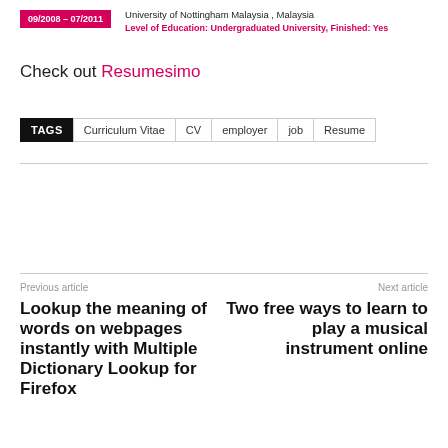09/2008 – 07/2011 | University of Nottingham Malaysia , Malaysia | Level of Education: Undergraduated University, Finished: Yes
Check out Resumesimo
TAGS  Curriculum Vitae  CV  employer  job  Resume
Previous article
Lookup the meaning of words on webpages instantly with Multiple Dictionary Lookup for Firefox
Next article
Two free ways to learn to play a musical instrument online